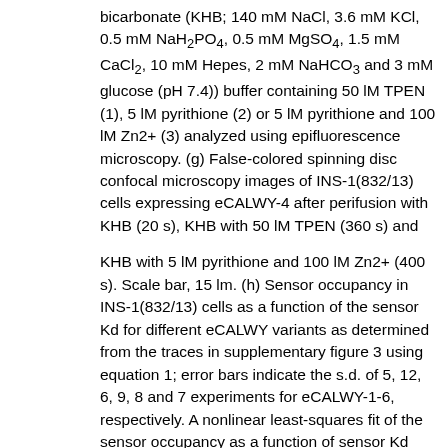bicarbonate (KHB; 140 mM NaCl, 3.6 mM KCl, 0.5 mM NaH2PO4, 0.5 mM MgSO4, 1.5 mM CaCl2, 10 mM Hepes, 2 mM NaHCO3 and 3 mM glucose (pH 7.4)) buffer containing 50 lM TPEN (1), 5 lM pyrithione (2) or 5 lM pyrithione and 100 lM Zn2+ (3) analyzed using epifluorescence microscopy. (g) False-colored spinning disc confocal microscopy images of INS-1(832/13) cells expressing eCALWY-4 after perifusion with KHB (20 s), KHB with 50 lM TPEN (360 s) and
KHB with 5 lM pyrithione and 100 lM Zn2+ (400 s). Scale bar, 15 lm. (h) Sensor occupancy in INS-1(832/13) cells as a function of the sensor Kd for different eCALWY variants as determined from the traces in supplementary figure 3 using equation 1; error bars indicate the s.d. of 5, 12, 6, 9, 8 and 7 experiments for eCALWY-1-6, respectively. A nonlinear least-squares fit of the sensor occupancy as a function of sensor Kd yielded a free Zn2+ concentration of 0.46 ± 0.22 nM. The dashed lines depict the expected responses assuming free zinc concentrations of 0.05, 0.1, 0.2 (0.4, solid line), 0.8, 1.6 and 3.2 nM, respectively. (i) Effect of growth conditions on the ratiometric response in INS-